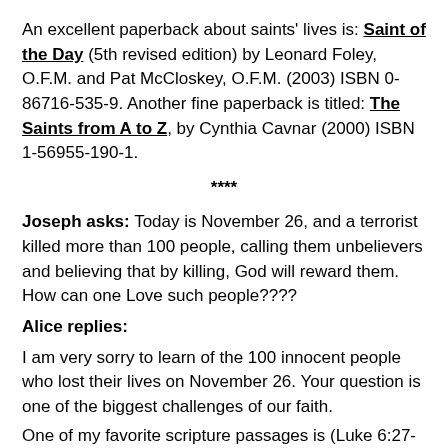An excellent paperback about saints' lives is: Saint of the Day (5th revised edition) by Leonard Foley, O.F.M. and Pat McCloskey, O.F.M. (2003) ISBN 0-86716-535-9. Another fine paperback is titled: The Saints from A to Z, by Cynthia Cavnar (2000) ISBN 1-56955-190-1.
****
Joseph asks: Today is November 26, and a terrorist killed more than 100 people, calling them unbelievers and believing that by killing, God will reward them. How can one Love such people????
Alice replies:
I am very sorry to learn of the 100 innocent people who lost their lives on November 26. Your question is one of the biggest challenges of our faith.
One of my favorite scripture passages is (Luke 6:27-28)